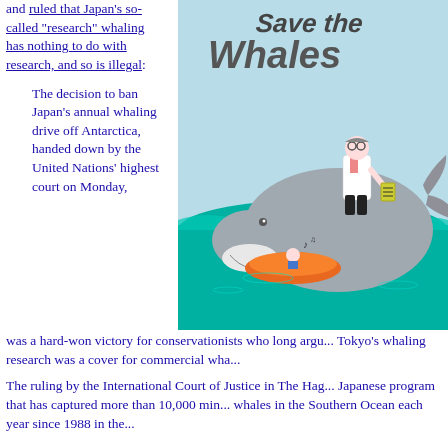and ruled that Japan's so-called "research" whaling has nothing to do with research, and so is illegal:
The decision to ban Japan's annual whaling drive off Antarctica, handed down by the United Nations' highest court on Monday, was a hard-won victory for conservationists who long argu... Tokyo's whaling research was a cover for commercial wha...
[Figure (illustration): Cartoon illustration showing a whale researcher (man in white coat and glasses) standing on a large whale in the ocean, with a small person in an orange inflatable raft nearby. Text at top reads 'Save the Whales' in large letters.]
The ruling by the International Court of Justice in The Hag... Japanese program that has captured more than 10,000 min... whales in the Southern Ocean each year since 1988 in the...